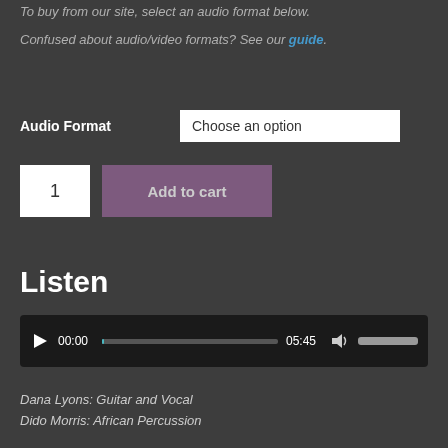To buy from our site, select an audio format below.
Confused about audio/video formats? See our guide.
Audio Format
Choose an option
1
Add to cart
Listen
[Figure (screenshot): Audio player with play button, time display showing 00:00 / 05:45, progress bar, volume icon and slider]
Dana Lyons: Guitar and Vocal
Dido Morris: African Percussion